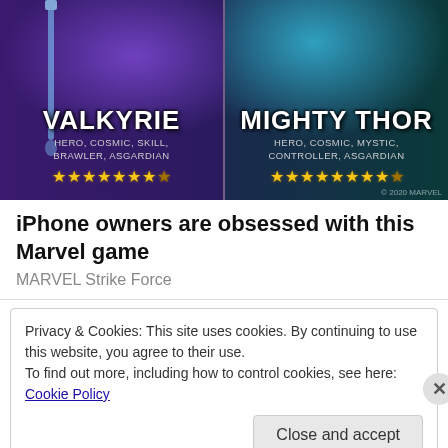[Figure (illustration): Game advertisement image showing two Marvel characters: Valkyrie (left, HERO, COSMIC, SKILL, BRAWLER, ASGARDIAN, 8 stars) and Mighty Thor (right, HERO, COSMIC, MYSTIC, CONTROLLER, ASGARDIAN, 9 stars) with glowing backgrounds. Copyright 2020 MARVEL.]
iPhone owners are obsessed with this Marvel game
MARVEL Strike Force
Privacy & Cookies: This site uses cookies. By continuing to use this website, you agree to their use.
To find out more, including how to control cookies, see here: Cookie Policy
Close and accept